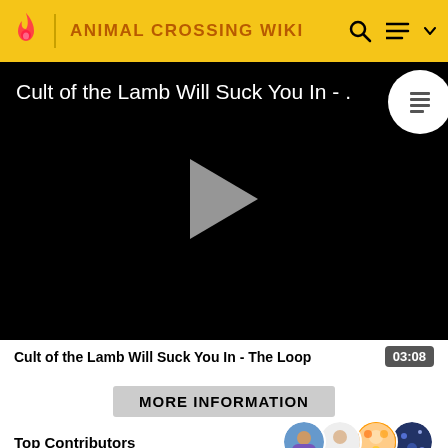ANIMAL CROSSING WIKI
[Figure (screenshot): Video player thumbnail showing black background with title 'Cult of the Lamb Will Suck You In - .' in white text, a play button in the center, and a circular badge with a list icon in the top right corner.]
Cult of the Lamb Will Suck You In - The Loop
03:08
MORE INFORMATION
Top Contributors